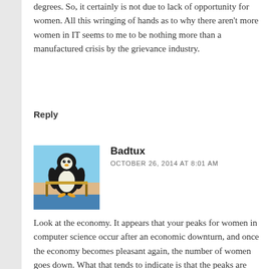degrees. So, it certainly is not due to lack of opportunity for women. All this wringing of hands as to why there aren't more women in IT seems to me to be nothing more than a manufactured crisis by the grievance industry.
Reply
[Figure (photo): Avatar image of a penguin sitting in a beach chair]
Badtux
OCTOBER 26, 2014 AT 8:01 AM
Look at the economy. It appears that your peaks for women in computer science occur after an economic downturn, and once the economy becomes pleasant again, the number of women goes down. What that tends to indicate is that the peaks are caused by women seeing computer science as a field that is secure and relatively lucrative, but not their preferred field. The same peaks happen for men as well, indicating that there's a certain number of men for which the same applies. I was at university